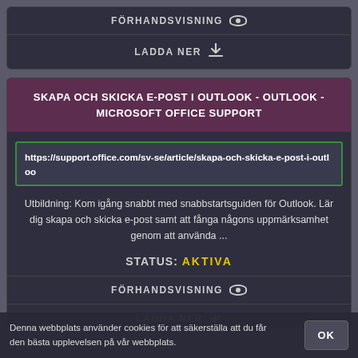FÖRHANDSVISNING
LADDA NER
SKAPA OCH SKICKA E-POST I OUTLOOK - OUTLOOK - MICROSOFT OFFICE SUPPORT
https://support.office.com/sv-se/article/skapa-och-skicka-e-post-i-outloo
Utbildning: Kom igång snabbt med snabbstartsguiden för Outlook. Lär dig skapa och skicka e-post samt att fånga någons uppmärksamhet genom att använda ...
STATUS: AKTIVA
FÖRHANDSVISNING
LADDA NER
Denna webbplats använder cookies för att säkerställa att du får den bästa upplevelsen på vår webbplats.